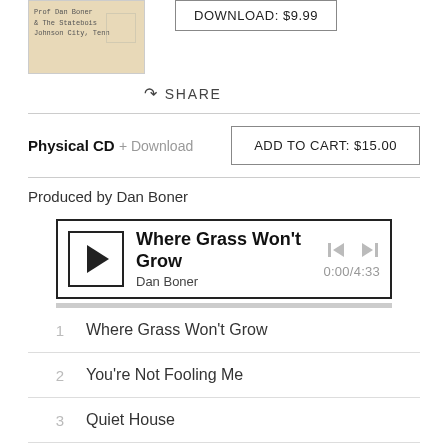[Figure (photo): Album thumbnail showing handwritten text on a vintage/tan background with a postage stamp]
DOWNLOAD: $9.99
SHARE
Physical CD + Download
ADD TO CART: $15.00
Produced by Dan Boner
[Figure (other): Audio player showing track 'Where Grass Won't Grow' by Dan Boner, time 0:00/4:33, with play button and skip controls]
1  Where Grass Won't Grow
2  You're Not Fooling Me
3  Quiet House
4  Darby's Castle